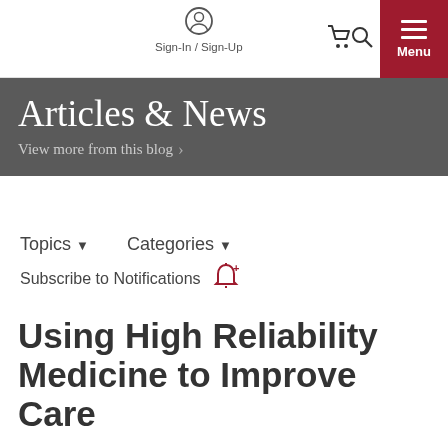Sign-In / Sign-Up  Menu
Articles & News
View more from this blog >
Topics ▼   Categories ▼
Subscribe to Notifications 🔔+
Using High Reliability Medicine to Improve Care